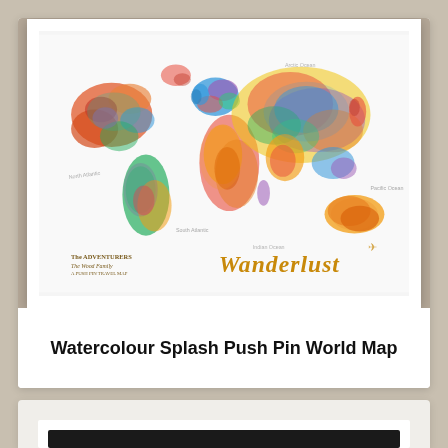[Figure (photo): A framed watercolour splash world map with colourful continents and 'Wanderlust' written in gold cursive script at the bottom right, displayed on a wood floor against a beige wall]
Watercolour Splash Push Pin World Map
[Figure (photo): Partial view of another framed map print with a dark/black frame, only the top portion visible at the bottom of the page]